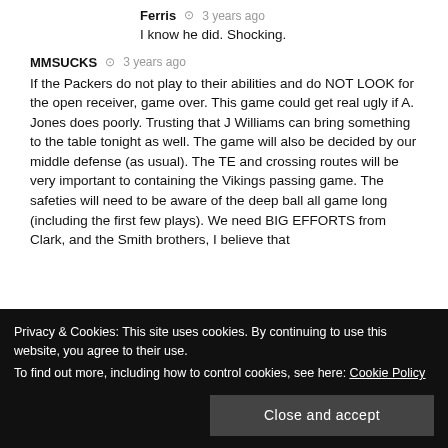Ferris ⊙ 3 years ago
I know he did. Shocking.
MMSUCKS ⊙ 3 years ago
If the Packers do not play to their abilities and do NOT LOOK for the open receiver, game over. This game could get real ugly if A. Jones does poorly. Trusting that J Williams can bring something to the table tonight as well. The game will also be decided by our middle defense (as usual). The TE and crossing routes will be very important to containing the Vikings passing game. The safeties will need to be aware of the deep ball all game long (including the first few plays). We need BIG EFFORTS from Clark, and the Smith brothers, I believe that
Privacy & Cookies: This site uses cookies. By continuing to use this website, you agree to their use.
To find out more, including how to control cookies, see here: Cookie Policy
Close and accept